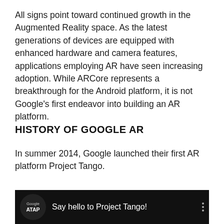All signs point toward continued growth in the Augmented Reality space. As the latest generations of devices are equipped with enhanced hardware and camera features, applications employing AR have seen increasing adoption. While ARCore represents a breakthrough for the Android platform, it is not Google's first endeavor into building an AR platform.
HISTORY OF GOOGLE AR
In summer 2014, Google launched their first AR platform Project Tango.
[Figure (screenshot): Video thumbnail with black background showing Google ATAP logo (circular badge with 'Google' and 'ATAP' text) and the text 'Say hello to Project Tango!' with a three-dot menu icon on the right.]